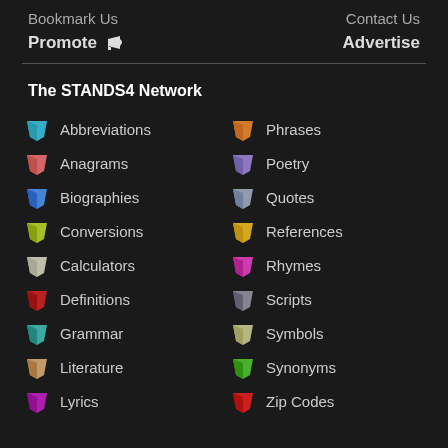Bookmark Us
Contact Us
Promote
Advertise
The STANDS4 Network
Abbreviations
Phrases
Anagrams
Poetry
Biographies
Quotes
Conversions
References
Calculators
Rhymes
Definitions
Scripts
Grammar
Symbols
Literature
Synonyms
Lyrics
Zip Codes